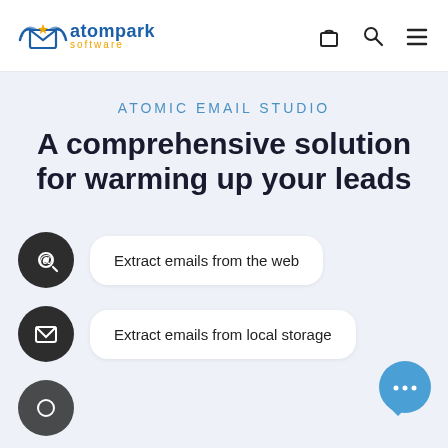[Figure (logo): Atompark Software logo with envelope icon in blue and yellow]
[Figure (infographic): Navigation icons: shopping bag, search, hamburger menu]
ATOMIC EMAIL STUDIO
A comprehensive solution for warming up your leads
Extract emails from the web
Extract emails from local storage
[Figure (illustration): Blue chat bubble with three dots (live chat button)]